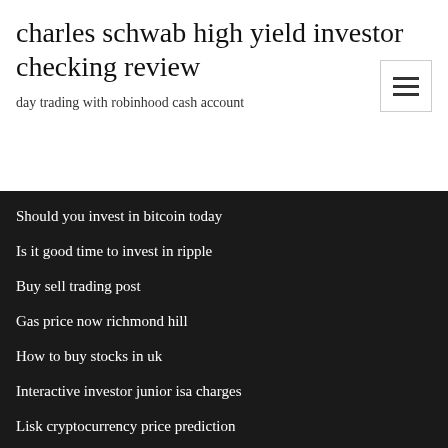charles schwab high yield investor checking review
day trading with robinhood cash account
Should you invest in bitcoin today
Is it good time to invest in ripple
Buy sell trading post
Gas price now richmond hill
How to buy stocks in uk
Interactive investor junior isa charges
Lisk cryptocurrency price prediction
Xrp vs bitcoin cash